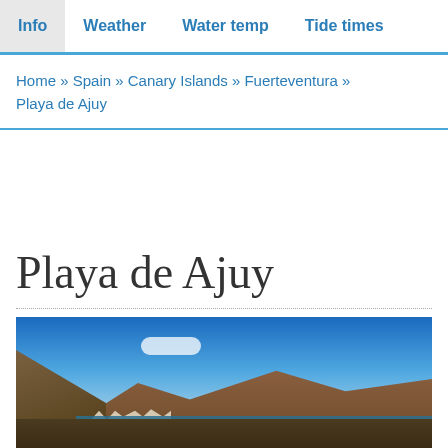Info  Weather  Water temp  Tide times
Home » Spain » Canary Islands » Fuerteventura » Playa de Ajuy
Playa de Ajuy
[Figure (photo): Panoramic view of Playa de Ajuy beach, Fuerteventura. Dark volcanic sand beach with rugged cliffs on the left, white-painted village buildings, brown hills in the background, and blue sea water under a clear blue sky with a few white clouds.]